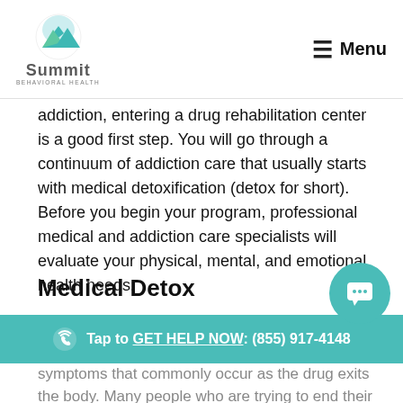Summit Behavioral Health — Menu
addiction, entering a drug rehabilitation center is a good first step. You will go through a continuum of addiction care that usually starts with medical detoxification (detox for short). Before you begin your program, professional medical and addiction care specialists will evaluate your physical, mental, and emotional health needs.
Medical Detox
People in active Ativan addiction will enter this critical
Tap to GET HELP NOW: (855) 917-4148
symptoms that commonly occur as the drug exits the body. Many people who are trying to end their drug or